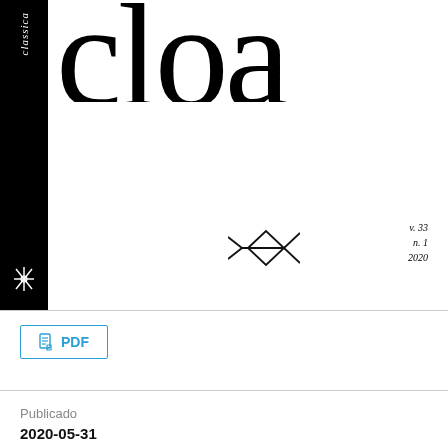[Figure (logo): Journal cover showing large decorative text 'Cloa' or similar partial title in large serif font, with black vertical sidebar containing the word 'classica' in italic and a decorative symbol at bottom. Center area has a geometric fish/arrow logo. Top right shows 'v. 33 n. 1 2020' in italic.]
[Figure (logo): PDF download button with document icon in teal/blue color]
Publicado
2020-05-31